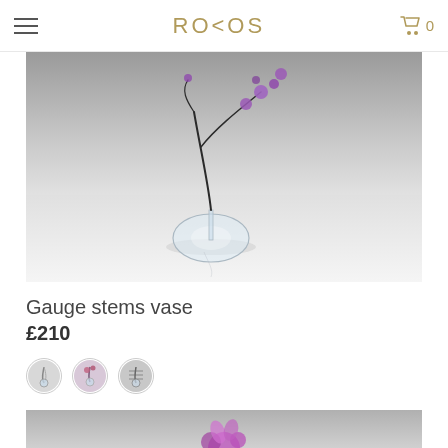ROKOS
[Figure (photo): Product photo of Gauge stems vase — a clear glass teardrop-shaped vase holding a slender dark branch with small purple flower buds, on a white surface against a grey gradient background]
Gauge stems vase
£210
[Figure (photo): Three circular color variant swatches showing the vase with different flower arrangements: clear/silver, pink/purple, and grey/silver tones]
[Figure (photo): Partial product photo of a second item showing a purple orchid-like flower against a grey gradient background]